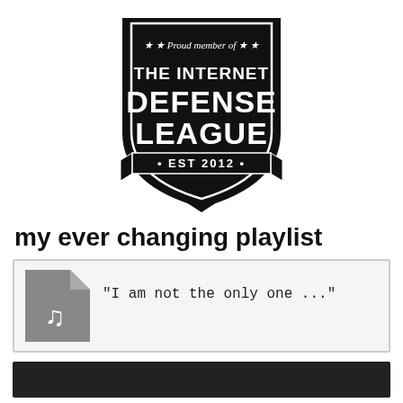[Figure (logo): Internet Defense League badge logo — black shield with white text: 'Proud member of THE INTERNET DEFENSE LEAGUE • EST 2012 •', with banner ribbons and stars]
my ever changing playlist
[Figure (other): Music playlist card with a grey document/music-note icon on the left and italic monospace text: "I am not the only one ..."]
[Figure (other): Dark grey/black bar at the bottom, likely a music player control bar]